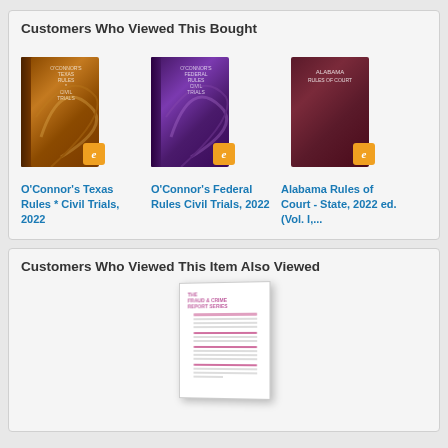Customers Who Viewed This Bought
[Figure (illustration): Book cover: O'Connor's Texas Rules * Civil Trials, 2022 - brown/gold cover with e-book badge]
O'Connor's Texas Rules * Civil Trials, 2022
[Figure (illustration): Book cover: O'Connor's Federal Rules Civil Trials, 2022 - purple cover with e-book badge]
O'Connor's Federal Rules Civil Trials, 2022
[Figure (illustration): Book cover: Alabama Rules of Court - State, 2022 ed. (Vol. I,...) - dark red cover with e-book badge]
Alabama Rules of Court - State, 2022 ed. (Vol. I,...
Customers Who Viewed This Item Also Viewed
[Figure (illustration): Document/report cover - white pages with pink/purple text lines, slightly angled]